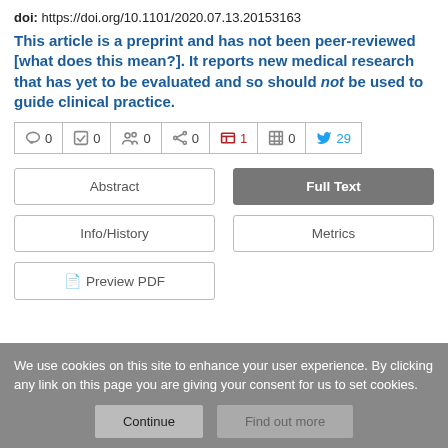doi: https://doi.org/10.1101/2020.07.13.20153163
This article is a preprint and has not been peer-reviewed [what does this mean?]. It reports new medical research that has yet to be evaluated and so should not be used to guide clinical practice.
[Figure (infographic): Social/action bar with icons and counts: comment 0, checkmark 0, people 0, share 0, Mendeley 1, table 0, Twitter 29]
Abstract | Full Text | Info/History | Metrics | Preview PDF — navigation buttons
We use cookies on this site to enhance your user experience. By clicking any link on this page you are giving your consent for us to set cookies.